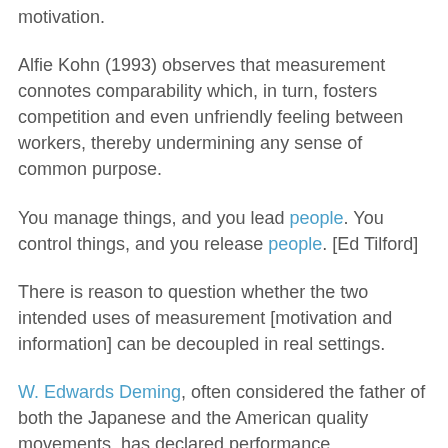motivation.
Alfie Kohn (1993) observes that measurement connotes comparability which, in turn, fosters competition and even unfriendly feeling between workers, thereby undermining any sense of common purpose.
You manage things, and you lead people. You control things, and you release people. [Ed Tilford]
There is reason to question whether the two intended uses of measurement [motivation and information] can be decoupled in real settings.
W. Edwards Deming, often considered the father of both the Japanese and the American quality movements, has declared performance measurement "the most powerful inhibitor to quality and productivity in the Western world".
Dysfunction's defining characteristic is that the